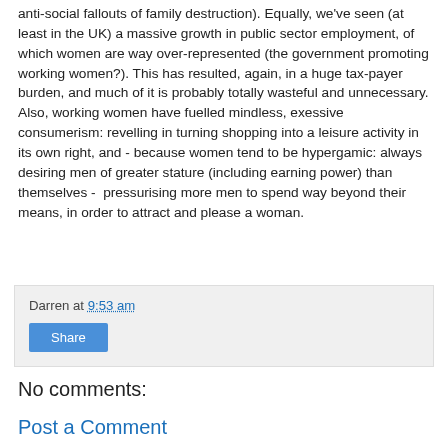anti-social fallouts of family destruction). Equally, we've seen (at least in the UK) a massive growth in public sector employment, of which women are way over-represented (the government promoting working women?). This has resulted, again, in a huge tax-payer burden, and much of it is probably totally wasteful and unnecessary. Also, working women have fuelled mindless, exessive consumerism: revelling in turning shopping into a leisure activity in its own right, and - because women tend to be hypergamic: always desiring men of greater stature (including earning power) than themselves -  pressurising more men to spend way beyond their means, in order to attract and please a woman.
Darren at 9:53 am
Share
No comments:
Post a Comment